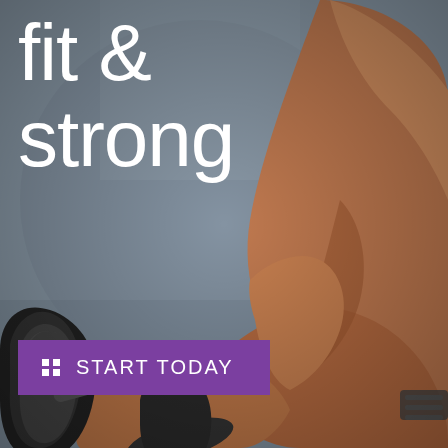[Figure (photo): A muscular person lifting a dumbbell weight against a concrete wall background. The image is partially in color (warm skin tones on the arm/shoulder) and partially desaturated (grey concrete background and dumbbell). The figure is cropped showing the arm, shoulder, and part of the torso.]
fit & strong
START TODAY